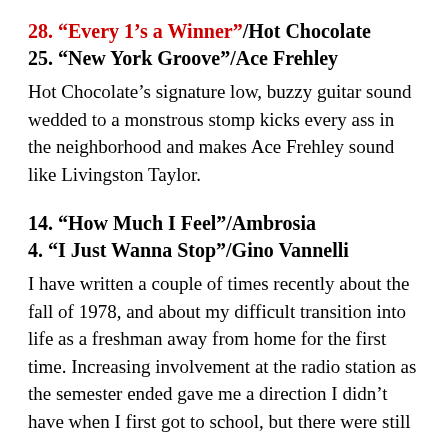28. “Every 1’s a Winner”/Hot Chocolate
25. “New York Groove”/Ace Frehley
Hot Chocolate’s signature low, buzzy guitar sound wedded to a monstrous stomp kicks every ass in the neighborhood and makes Ace Frehley sound like Livingston Taylor.
14. “How Much I Feel”/Ambrosia
4. “I Just Wanna Stop”/Gino Vannelli
I have written a couple of times recently about the fall of 1978, and about my difficult transition into life as a freshman away from home for the first time. Increasing involvement at the radio station as the semester ended gave me a direction I didn’t have when I first got to school, but there were still